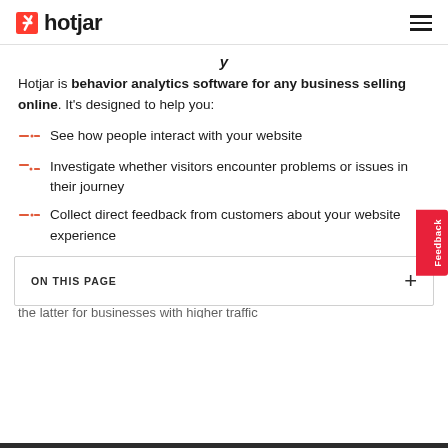hotjar
Hotjar is behavior analytics software for any business selling online. It's designed to help you:
See how people interact with your website
Investigate whether visitors encounter problems or issues in their journey
Collect direct feedback from customers about your website experience
Like Google Analytics, Hotjar exists both in a free and a paid version—the former available to anyone,
ON THIS PAGE